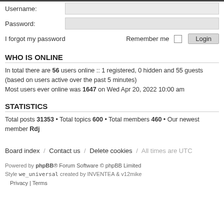Username: [input field]
Password: [input field]
I forgot my password   Remember me □  Login
WHO IS ONLINE
In total there are 56 users online :: 1 registered, 0 hidden and 55 guests (based on users active over the past 5 minutes)
Most users ever online was 1647 on Wed Apr 20, 2022 10:00 am
STATISTICS
Total posts 31353 • Total topics 600 • Total members 460 • Our newest member Rdj
Board index / Contact us / Delete cookies / All times are UTC
Powered by phpBB® Forum Software © phpBB Limited
Style we_universal created by INVENTEA & v12mike
Privacy | Terms